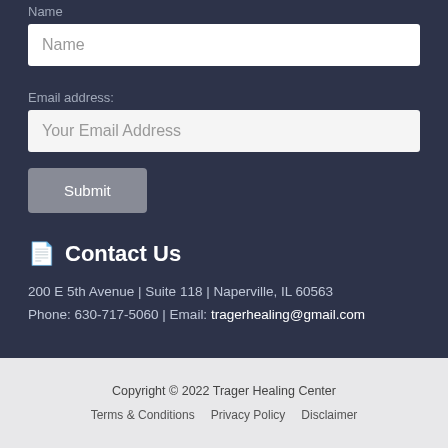Name
Name (input field placeholder)
Email address:
Your Email Address (input field placeholder)
Submit
Contact Us
200 E 5th Avenue | Suite 118 | Naperville, IL 60563
Phone: 630-717-5060 | Email: tragerhealing@gmail.com
Copyright © 2022 Trager Healing Center
Terms & Conditions   Privacy Policy   Disclaimer